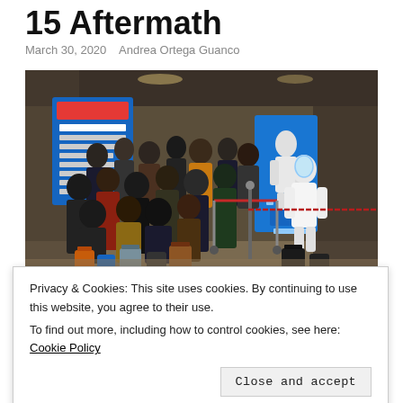15 Aftermath
March 30, 2020   Andrea Ortega Guanco
[Figure (photo): Crowd of people with luggage queuing at an airport checkpoint, with a person in white protective hazmat suit standing near a blue information display. Signs in Chinese visible in background.]
Privacy & Cookies: This site uses cookies. By continuing to use this website, you agree to their use.
To find out more, including how to control cookies, see here: Cookie Policy
months